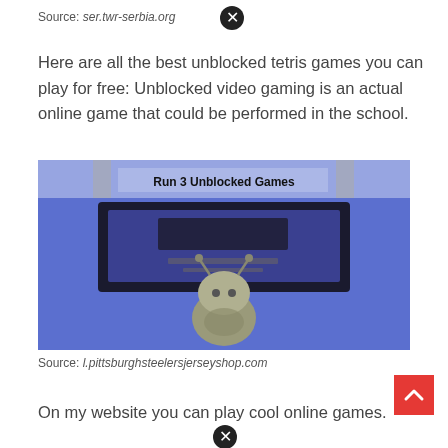Source: ser.twr-serbia.org
Here are all the best unblocked tetris games you can play for free: Unblocked video gaming is an actual online game that could be performed in the school.
[Figure (screenshot): Screenshot of Run 3 Unblocked Games website showing a blue background with a cartoon alien/bug character and a dark display screen element. The title 'Run 3 Unblocked Games' appears in bold text at the top of the image.]
Source: l.pittsburghsteelersjerseyshop.com
On my website you can play cool online games.